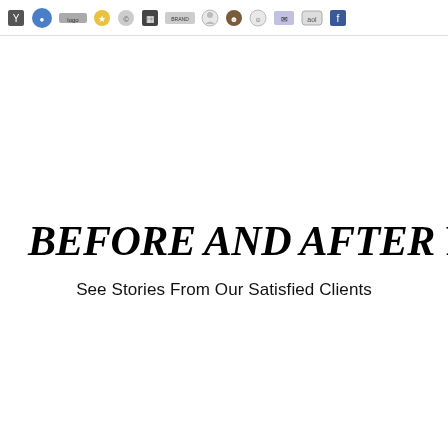[Navigation bar with logos/icons]
BEFORE AND AFTER RESULTS
See Stories From Our Satisfied Clients